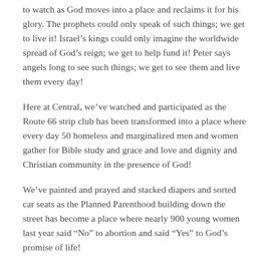to watch as God moves into a place and reclaims it for his glory. The prophets could only speak of such things; we get to live it! Israel's kings could only imagine the worldwide spread of God's reign; we get to help fund it! Peter says angels long to see such things; we get to see them and live them every day!
Here at Central, we've watched and participated as the Route 66 strip club has been transformed into a place where every day 50 homeless and marginalized men and women gather for Bible study and grace and love and dignity and Christian community in the presence of God!
We've painted and prayed and stacked diapers and sorted car seats as the Planned Parenthood building down the street has become a place where nearly 900 young women last year said “No” to abortion and said “Yes” to God’s promise of life!